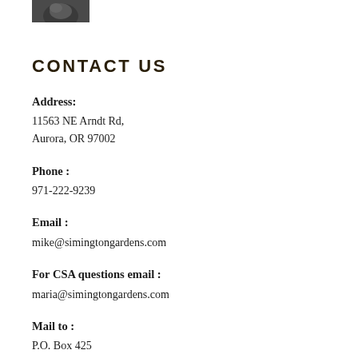[Figure (photo): Small partial photo in top-left corner, partially cropped]
CONTACT US
Address:
11563 NE Arndt Rd,
Aurora, OR 97002
Phone:
971-222-9239
Email:
mike@simingtongardens.com
For CSA questions email:
maria@simingtongardens.com
Mail to :
P.O. Box 425